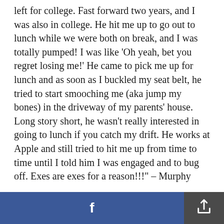left for college. Fast forward two years, and I was also in college. He hit me up to go out to lunch while we were both on break, and I was totally pumped! I was like 'Oh yeah, bet you regret losing me!' He came to pick me up for lunch and as soon as I buckled my seat belt, he tried to start smooching me (aka jump my bones) in the driveway of my parents' house. Long story short, he wasn't really interested in going to lunch if you catch my drift. He works at Apple and still tried to hit me up from time to time until I told him I was engaged and to bug off. Exes are exes for a reason!!!" – Murphy